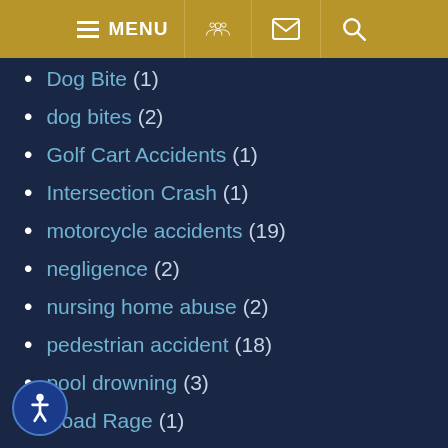MENU
Dog Bite (1)
dog bites (2)
Golf Cart Accidents (1)
Intersection Crash (1)
motorcycle accidents (19)
negligence (2)
nursing home abuse (2)
pedestrian accident (18)
pool drowning (3)
Road Rage (1)
Seat Belt Laws (1)
slip and fall (7)
Third-Party Liability (2)
traumatic brain injury (9)